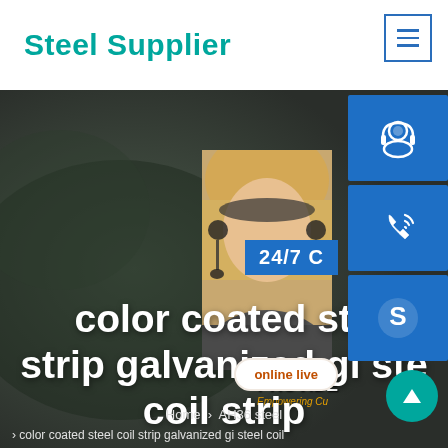Steel Supplier
[Figure (screenshot): Steel supplier website screenshot showing dark hero area with person wearing headset, side action icons (customer service, phone, skype), 24/7 banner, 'PROVIDE Empowering Customers' text overlay, 'online live' button, up arrow button, large white bold hero text 'color coated steel coil strip galvanized gi steel coil strip', breadcrumb navigation 'Home > AH36 steel > color coated steel coil strip galvanized gi steel coil']
color coated steel coil strip galvanized gi steel coil strip
Home > AH36 steel
> color coated steel coil strip galvanized gi steel coil